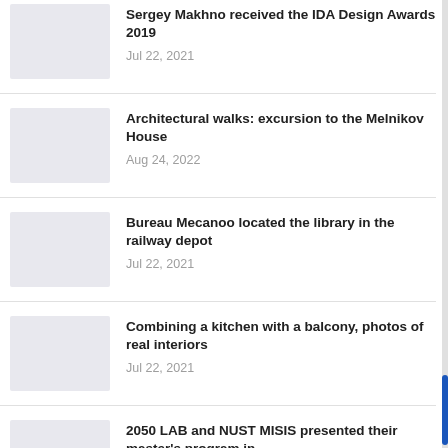Sergey Makhno received the IDA Design Awards 2019
Jul 22, 2021
Architectural walks: excursion to the Melnikov House
Aug 24, 2022
Bureau Mecanoo located the library in the railway depot
Jul 22, 2021
Combining a kitchen with a balcony, photos of real interiors
Jul 22, 2021
2050 LAB and NUST MISIS presented their master's program in…
Jul 22, 2021
A revolving chapel for lovers appeared in China